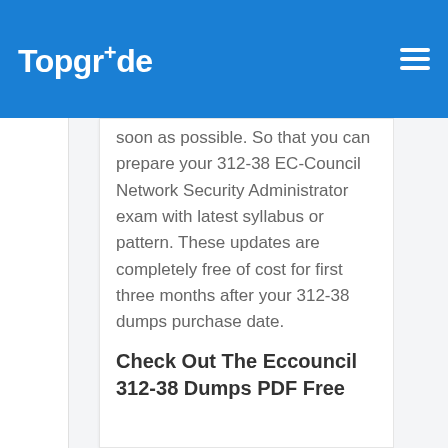TopgrAde
soon as possible. So that you can prepare your 312-38 EC-Council Network Security Administrator exam with latest syllabus or pattern. These updates are completely free of cost for first three months after your 312-38 dumps purchase date.
Check Out The Eccouncil 312-38 Dumps PDF Free